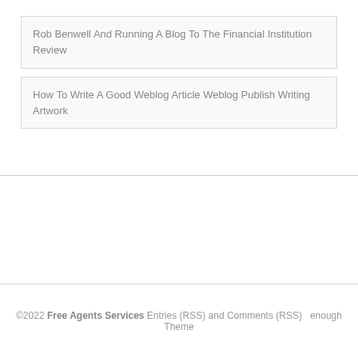Rob Benwell And Running A Blog To The Financial Institution Review
How To Write A Good Weblog Article Weblog Publish Writing Artwork
©2022 Free Agents Services Entries (RSS) and Comments (RSS)  enough Theme